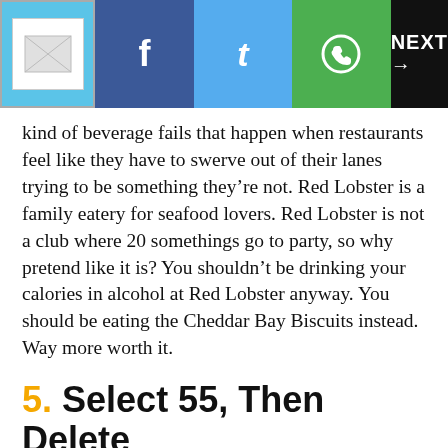[Figure (screenshot): Navigation bar with logo placeholder, Facebook, Twitter, WhatsApp share buttons, and NEXT arrow button]
kind of beverage fails that happen when restaurants feel like they have to swerve out of their lanes trying to be something they’re not. Red Lobster is a family eatery for seafood lovers. Red Lobster is not a club where 20 somethings go to party, so why pretend like it is? You shouldn’t be drinking your calories in alcohol at Red Lobster anyway. You should be eating the Cheddar Bay Biscuits instead. Way more worth it.
5. Select 55, Then Delete
Beer drinkers are, as a general rule, not complicated: they expect good tasting beer for a decent price. Even with the popularity of fancy